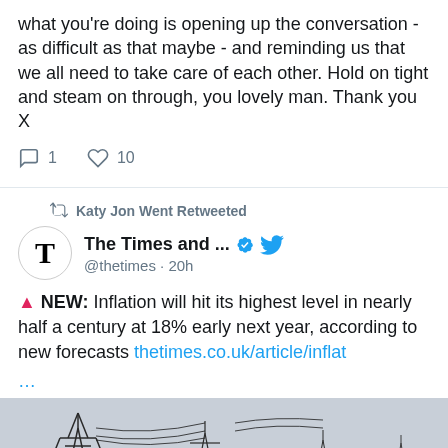what you're doing is opening up the conversation - as difficult as that maybe - and reminding us that we all need to take care of each other. Hold on tight and steam on through, you lovely man. Thank you X
1 reply, 10 likes
Katy Jon Went Retweeted
The Times and ... @thetimes · 20h
🔺 NEW: Inflation will hit its highest level in nearly half a century at 18% early next year, according to new forecasts thetimes.co.uk/article/inflat
[Figure (photo): Photograph of electrical pylons/transmission towers against a grey sky]